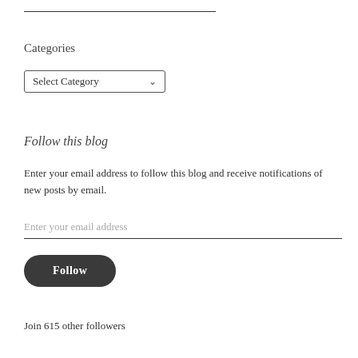Categories
[Figure (other): Select Category dropdown widget]
Follow this blog
Enter your email address to follow this blog and receive notifications of new posts by email.
[Figure (other): Enter your email address input field with underline]
[Figure (other): Follow button, dark rounded pill shape]
Join 615 other followers